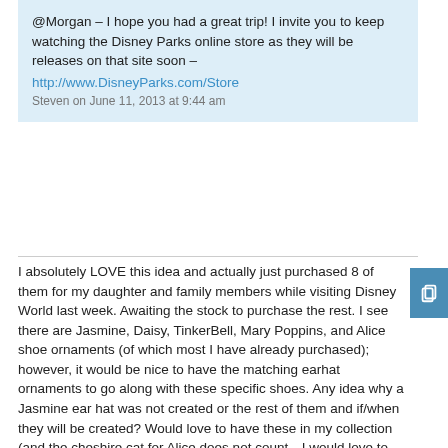@Morgan – I hope you had a great trip! I invite you to keep watching the Disney Parks online store as they will be releases on that site soon – http://www.DisneyParks.com/Store
Steven on June 11, 2013 at 9:44 am
I absolutely LOVE this idea and actually just purchased 8 of them for my daughter and family members while visiting Disney World last week. Awaiting the stock to purchase the rest. I see there are Jasmine, Daisy, TinkerBell, Mary Poppins, and Alice shoe ornaments (of which most I have already purchased); however, it would be nice to have the matching earhat ornaments to go along with these specific shoes. Any idea why a Jasmine ear hat was not created or the rest of them and if/when they will be created? Would love to have these in my collection (and the cheshire cat for Alice does not count…I would love to have Alice herself). Thanks for any insight!!
Denise on June 16, 2013 at 10:07 pm